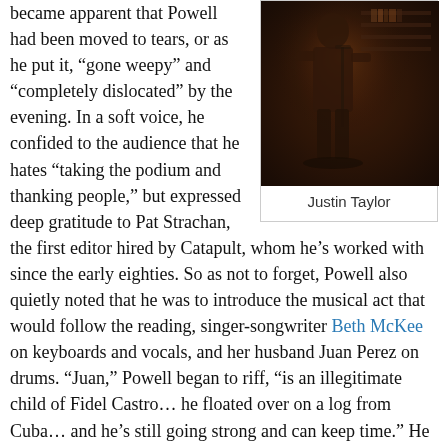[Figure (photo): Dark photo of a person (Justin Taylor) in a dimly lit room, possibly a bookstore or venue]
Justin Taylor
became apparent that Powell had been moved to tears, or as he put it, “gone weepy” and “completely dislocated” by the evening. In a soft voice, he confided to the audience that he hates “taking the podium and thanking people,” but expressed deep gratitude to Pat Strachan, the first editor hired by Catapult, whom he’s worked with since the early eighties. So as not to forget, Powell also quietly noted that he was to introduce the musical act that would follow the reading, singer-songwriter Beth McKee on keyboards and vocals, and her husband Juan Perez on drums. “Juan,” Powell began to riff, “is an illegitimate child of Fidel Castro… he floated over on a log from Cuba… and he’s still going strong and can keep time.” He then went into a brief, somewhat inaudible discussion of the drummer Ginger Baker and illegitimate children, which had the crowd laughing once more, before announcing that Catapult wouldn’t let him subtitle his new collection “45 Failed Novels.” The man was almost as odd as his fiction, a real character, and it would have been a tall order not to be charmed by the whole thing